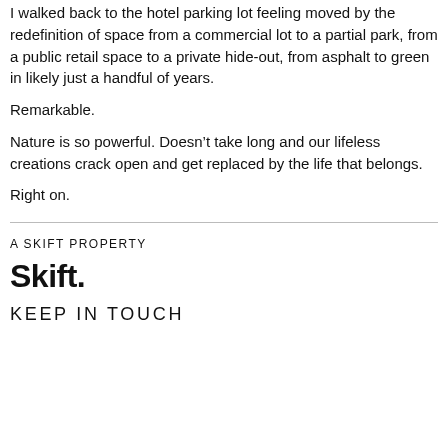I walked back to the hotel parking lot feeling moved by the redefinition of space from a commercial lot to a partial park, from a public retail space to a private hide-out, from asphalt to green in likely just a handful of years.
Remarkable.
Nature is so powerful. Doesn't take long and our lifeless creations crack open and get replaced by the life that belongs.
Right on.
A SKIFT PROPERTY
[Figure (logo): Skift logo in bold black text with a dot after the 't']
KEEP IN TOUCH